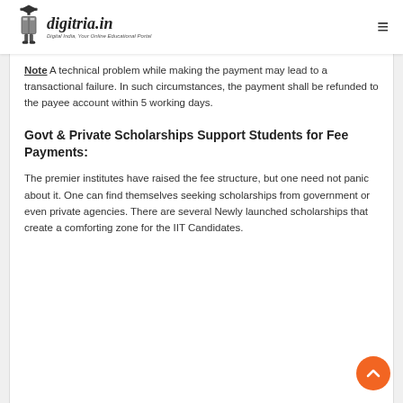digitria.in — Digital India, Your Online Educational Portal
Note A technical problem while making the payment may lead to a transactional failure. In such circumstances, the payment shall be refunded to the payee account within 5 working days.
Govt & Private Scholarships Support Students for Fee Payments:
The premier institutes have raised the fee structure, but one need not panic about it. One can find themselves seeking scholarships from government or even private agencies. There are several Newly launched scholarships that create a comforting zone for the IIT Candidates.